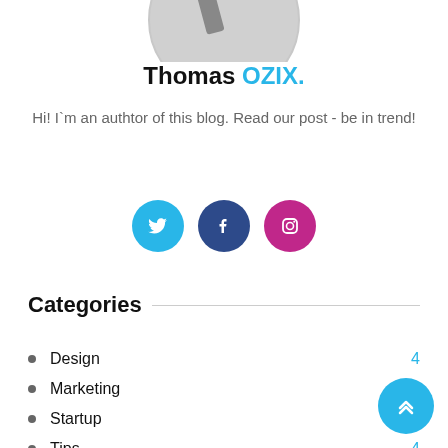[Figure (photo): Partial circular profile photo at the top of the page, showing the bottom half of a person's profile image with a circular border.]
Thomas OZIX.
Hi! I`m an authtor of this blog. Read our post - be in trend!
[Figure (infographic): Three circular social media icon buttons: Twitter (blue), Facebook (dark blue), Instagram (pink/magenta).]
Categories
Design 4
Marketing 5
Startup 6
Tips 4